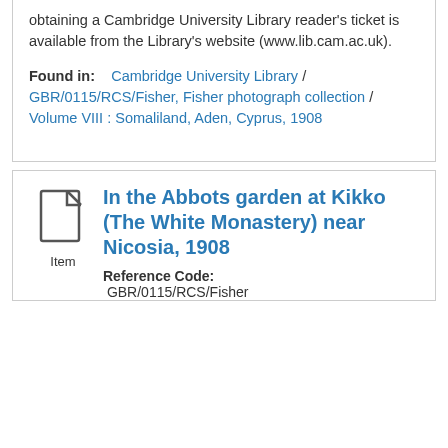obtaining a Cambridge University Library reader's ticket is available from the Library's website (www.lib.cam.ac.uk).
Found in: Cambridge University Library / GBR/0115/RCS/Fisher, Fisher photograph collection / Volume VIII : Somaliland, Aden, Cyprus, 1908
[Figure (other): Document/item icon]
In the Abbots garden at Kikko (The White Monastery) near Nicosia, 1908
Reference Code: GBR/0115/RCS/Fisher